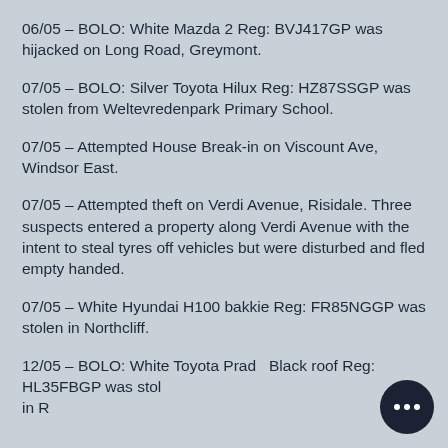06/05 – BOLO: White Mazda 2 Reg: BVJ417GP was hijacked on Long Road, Greymont.
07/05 – BOLO: Silver Toyota Hilux Reg: HZ87SSGP was stolen from Weltevredenpark Primary School.
07/05 – Attempted House Break-in on Viscount Ave, Windsor East.
07/05 – Attempted theft on Verdi Avenue, Risidale. Three suspects entered a property along Verdi Avenue with the intent to steal tyres off vehicles but were disturbed and fled empty handed.
07/05 – White Hyundai H100 bakkie Reg: FR85NGGP was stolen in Northcliff.
12/05 – BOLO: White Toyota Prado Black roof Reg: HL35FBGP was stolen in Randpark Ridge.